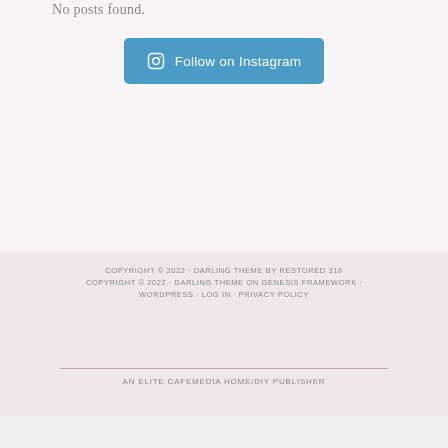No posts found.
Follow on Instagram
COPYRIGHT © 2022 · DARLING THEME BY RESTORED 316
COPYRIGHT © 2022 · DARLING THEME ON GENESIS FRAMEWORK · WORDPRESS · LOG IN · PRIVACY POLICY
AN ELITE CAFEMEDIA HOME/DIY PUBLISHER